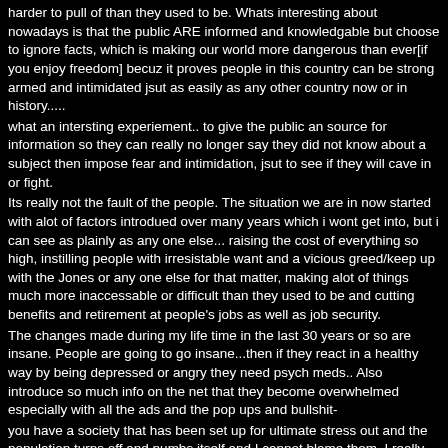harder to pull of than they used to be. Whats interesting about nowadays is that the public ARE informed and knowledgable but choose to ignore facts, which is making our world more dangerous than ever[if you enjoy freedom] becuz it proves people in this country can be strong armed and intimidated jsut as easily as any other country now or in history.....
what an intersting experiement.. to give the public an source for information so they can really no longer say they did not know about a subject then impose fear and intimidation, jsut to see if they will cave in or fight.
Its really not the fault of the people. The situation we are in now started with alot of factors introdued over many years which i wont get into, but i can see as plainly as any one else... raising the cost of everything so high, instilling people with irresistable want and a vicious greed/keep up with the Jones or any one else for that matter, making alot of things much more inaccessable or difficult than they used to be and cutting benefits and retirement at people's jobs as well as job security.
The changes made during my life time in the last 30 years or so are insane. People are going to go insane...then if they react in a healthy way by being depressed or angry they need psych meds.. Also introduce so much info on the net that they become overwhelmed especially with all the ads and the pop ups and bullshit-
you have a society that has been set up for ultimate stress out and the population turns off and numbs itself and I cannot blame them. I really cant.